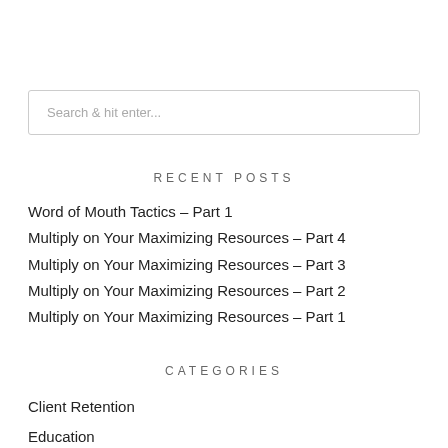Search & hit enter...
RECENT POSTS
Word of Mouth Tactics – Part 1
Multiply on Your Maximizing Resources – Part 4
Multiply on Your Maximizing Resources – Part 3
Multiply on Your Maximizing Resources – Part 2
Multiply on Your Maximizing Resources – Part 1
CATEGORIES
Client Retention
Education